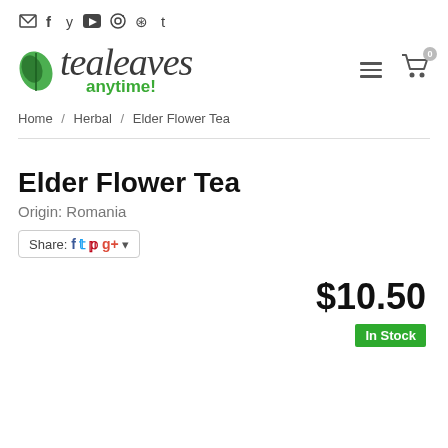✉ f y ▶ ⊙ ⊛ t
[Figure (logo): Tea Leaves Anytime logo with green leaf icon and stylized cursive text 'tealeaves' with 'anytime!' in green below]
Home / Herbal / Elder Flower Tea
Elder Flower Tea
Origin: Romania
Share: [Facebook] [Twitter] [Pinterest] [Google+] ▼
$10.50
In Stock